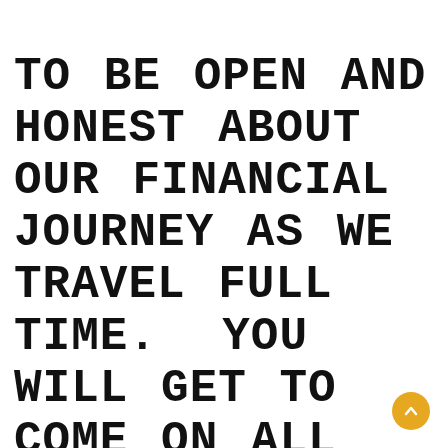TO BE OPEN AND HONEST ABOUT OUR FINANCIAL JOURNEY AS WE TRAVEL FULL TIME. YOU WILL GET TO COME ON ALL ASPECTS OF OUR ADVENTURES WITH US, AND WE